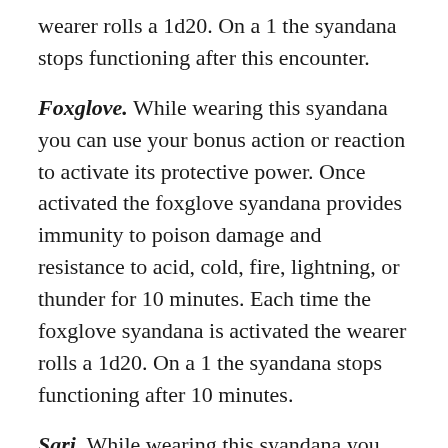wearer rolls a 1d20.  On a 1 the syandana stops functioning after this encounter.
Foxglove.  While wearing this syandana you can use your bonus action or reaction to activate its protective power. Once activated the foxglove syandana provides immunity to poison damage and resistance to acid, cold, fire, lightning, or thunder for 10 minutes. Each time the foxglove syandana is activated the wearer rolls a 1d20.  On a 1 the syandana stops functioning after 10 minutes.
Sari. While wearing this syandana you can use your bonus action or reaction to activate its power of flight.  This acts as the fly spell except the duration is 1 hour. In addition, it can be used to provide a burst of speed, once per minute, you can double your